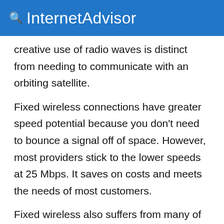InternetAdvisor
creative use of radio waves is distinct from needing to communicate with an orbiting satellite.
Fixed wireless connections have greater speed potential because you don't need to bounce a signal off of space. However, most providers stick to the lower speeds at 25 Mbps. It saves on costs and meets the needs of most customers.
Fixed wireless also suffers from many of the same problems that satellite providers do. The threat of inclement weather is a factor you need to consider. This is the risk that comes with having no physical lines.
Fixed wireless is one of the most wide-spread types of...